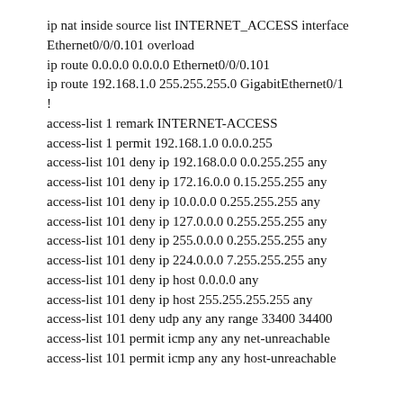ip nat inside source list INTERNET_ACCESS interface Ethernet0/0/0.101 overload
ip route 0.0.0.0 0.0.0.0 Ethernet0/0/0.101
ip route 192.168.1.0 255.255.255.0 GigabitEthernet0/1
!
access-list 1 remark INTERNET-ACCESS
access-list 1 permit 192.168.1.0 0.0.0.255
access-list 101 deny ip 192.168.0.0 0.0.255.255 any
access-list 101 deny ip 172.16.0.0 0.15.255.255 any
access-list 101 deny ip 10.0.0.0 0.255.255.255 any
access-list 101 deny ip 127.0.0.0 0.255.255.255 any
access-list 101 deny ip 255.0.0.0 0.255.255.255 any
access-list 101 deny ip 224.0.0.0 7.255.255.255 any
access-list 101 deny ip host 0.0.0.0 any
access-list 101 deny ip host 255.255.255.255 any
access-list 101 deny udp any any range 33400 34400
access-list 101 permit icmp any any net-unreachable
access-list 101 permit icmp any any host-unreachable